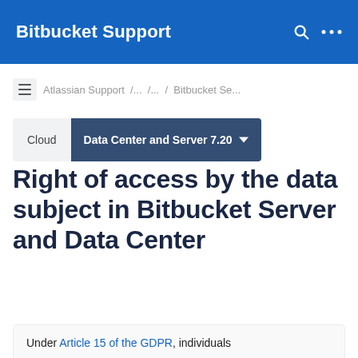Bitbucket Support
Atlassian Support / ... / Bitbucket Se...
Cloud | Data Center and Server 7.20
Right of access by the data subject in Bitbucket Server and Data Center
Under Article 15 of the GDPR, individuals